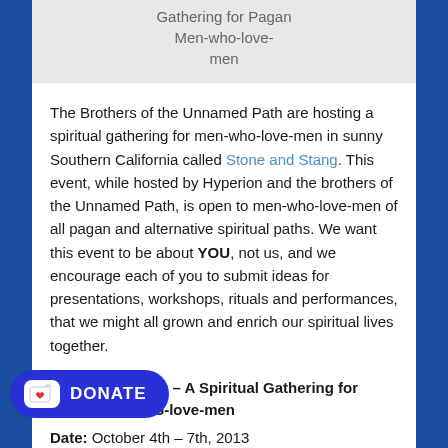[Figure (other): Gray box with text: Gathering for Pagan Men-who-love-men]
The Brothers of the Unnamed Path are hosting a spiritual gathering for men-who-love-men in sunny Southern California called Stone and Stang. This event, while hosted by Hyperion and the brothers of the Unnamed Path, is open to men-who-love-men of all pagan and alternative spiritual paths. We want this event to be about YOU, not us, and we encourage each of you to submit ideas for presentations, workshops, rituals and performances, that we might all grown and enrich our spiritual lives together.
Stone and Stang – A Spiritual Gathering for Pagan Men-who-love-men
Date: October 4th – 7th, 2013
Location: Simi Valley, CA
(registration until July 31, 2013)
[Figure (other): Donate button with Ko-fi cup icon]
This community-centered event will take place in the